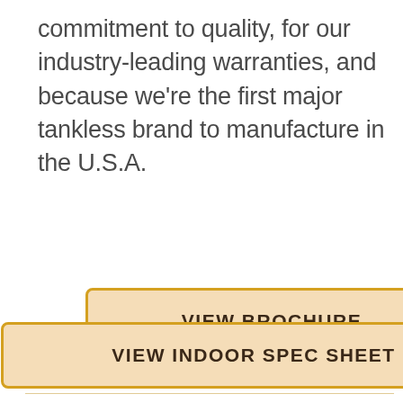commitment to quality, for our industry-leading warranties, and because we're the first major tankless brand to manufacture in the U.S.A.
VIEW BROCHURE
VIEW INDOOR SPEC SHEET
VIEW OUTDOOR SPEC SHEET